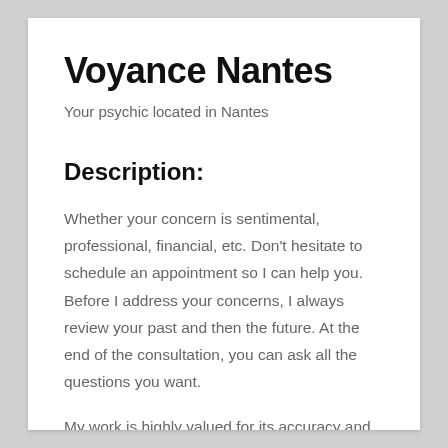Voyance Nantes
Your psychic located in Nantes
Description:
Whether your concern is sentimental, professional, financial, etc. Don't hesitate to schedule an appointment so I can help you.
Before I address your concerns, I always review your past and then the future. At the end of the consultation, you can ask all the questions you want.
My work is highly valued for its accuracy and precision. Whether you are an individual or a professional, I will bring you all the help possible